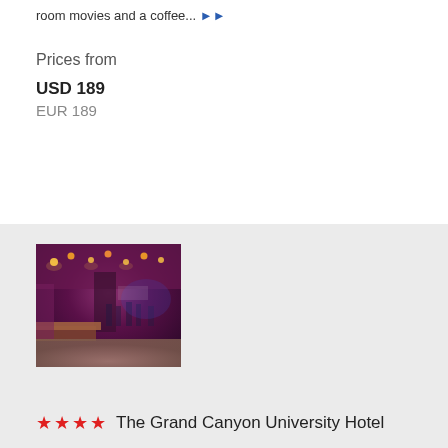room movies and a coffee... ▶▶
Prices from
USD 189
EUR 189
[Figure (photo): Interior of The Grand Canyon University Hotel bar/lounge area with purple decor, hanging lights, and patrons seated at tables]
★★★★ The Grand Canyon University Hotel